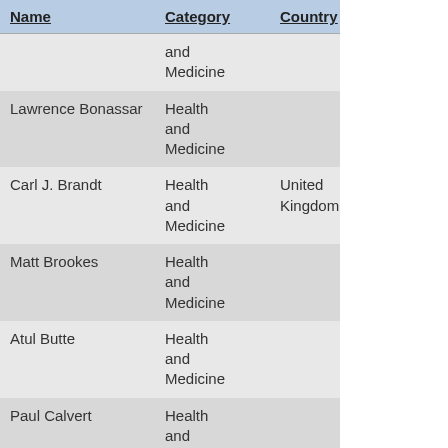| Name | Category | Country |
| --- | --- | --- |
|  | and Medicine |  |
| Lawrence Bonassar | Health and Medicine |  |
| Carl J. Brandt | Health and Medicine | United Kingdom |
| Matt Brookes | Health and Medicine |  |
| Atul Butte | Health and Medicine |  |
| Paul Calvert | Health and Medicine |  |
| Jean-Laurent Casanova | Health and Medicine | France |